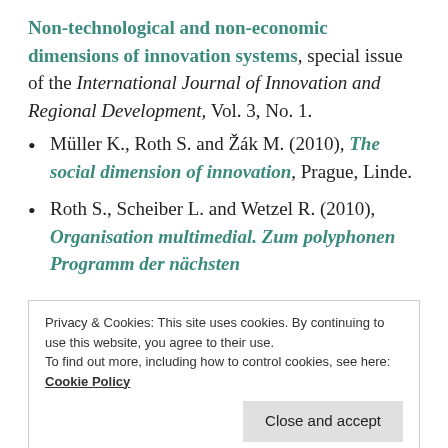Non-technological and non-economic dimensions of innovation systems, special issue of the International Journal of Innovation and Regional Development, Vol. 3, No. 1.
Müller K., Roth S. and Žák M. (2010), The social dimension of innovation, Prague, Linde.
Roth S., Scheiber L. and Wetzel R. (2010), Organisation multimedial. Zum polyphonen Programm der nächsten
Privacy & Cookies: This site uses cookies. By continuing to use this website, you agree to their use. To find out more, including how to control cookies, see here: Cookie Policy
published by AVM in 2015).